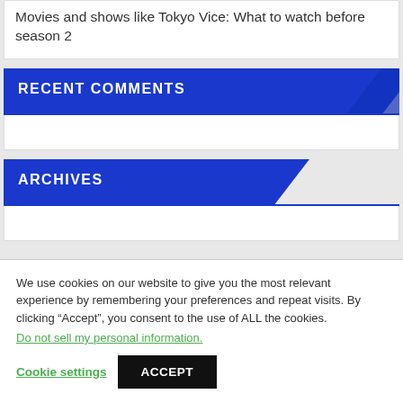Movies and shows like Tokyo Vice: What to watch before season 2
RECENT COMMENTS
ARCHIVES
We use cookies on our website to give you the most relevant experience by remembering your preferences and repeat visits. By clicking “Accept”, you consent to the use of ALL the cookies.
Do not sell my personal information.
Cookie settings
ACCEPT